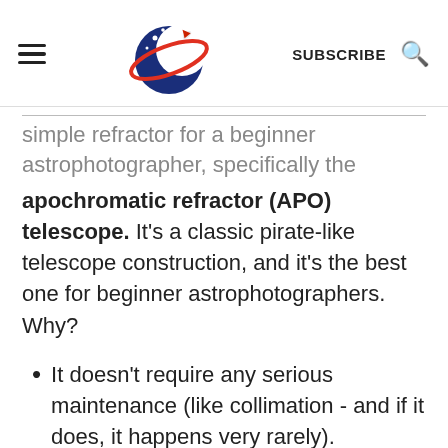SUBSCRIBE
simple refractor for a beginner astrophotographer, specifically the apochromatic refractor (APO) telescope. It's a classic pirate-like telescope construction, and it's the best one for beginner astrophotographers. Why?
It doesn't require any serious maintenance (like collimation - and if it does, it happens very rarely).